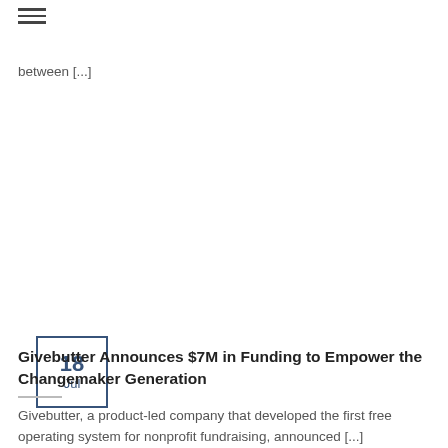≡
between [...]
18 Jul
Givebutter Announces $7M in Funding to Empower the Changemaker Generation
Givebutter, a product-led company that developed the first free operating system for nonprofit fundraising, announced [...]